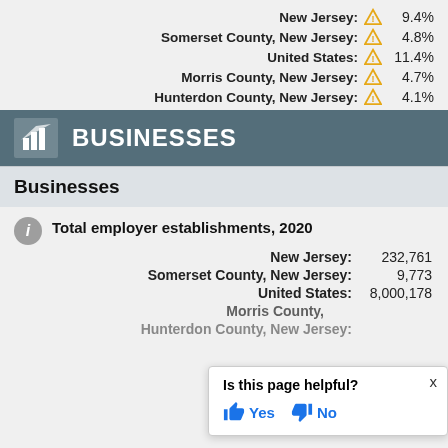New Jersey: ⚠ 9.4%
Somerset County, New Jersey: ⚠ 4.8%
United States: ⚠ 11.4%
Morris County, New Jersey: ⚠ 4.7%
Hunterdon County, New Jersey: ⚠ 4.1%
BUSINESSES
Businesses
Total employer establishments, 2020
New Jersey: 232,761
Somerset County, New Jersey: 9,773
United States: 8,000,178
Morris County, New Jersey:
Hunterdon County, New Jersey: